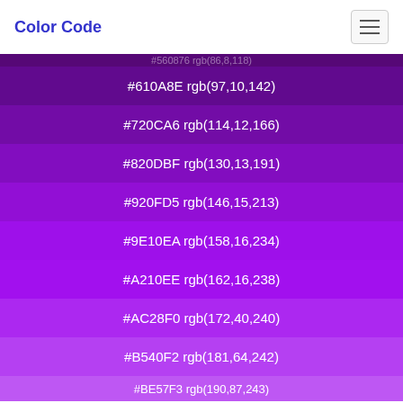Color Code
#610A8E rgb(97,10,142)
#720CA6 rgb(114,12,166)
#820DBF rgb(130,13,191)
#920FD5 rgb(146,15,213)
#9E10EA rgb(158,16,234)
#A210EE rgb(162,16,238)
#AC28F0 rgb(172,40,240)
#B540F2 rgb(181,64,242)
#BE57F3 rgb(190,87,243)